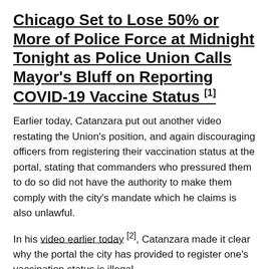Chicago Set to Lose 50% or More of Police Force at Midnight Tonight as Police Union Calls Mayor's Bluff on Reporting COVID-19 Vaccine Status [1]
Earlier today, Catanzara put out another video restating the Union's position, and again discouraging officers from registering their vaccination status at the portal, stating that commanders who pressured them to do so did not have the authority to make them comply with the city's mandate which he claims is also unlawful.
In his video earlier today [2], Catanzara made it clear why the portal the city has provided to register one's vaccination status is illegal.
The portal says you're vaccinated, provide proof or no. Those were the only two options.
We asked that there is a third option. The third option is it's none of your damn business. I will get tested instead.